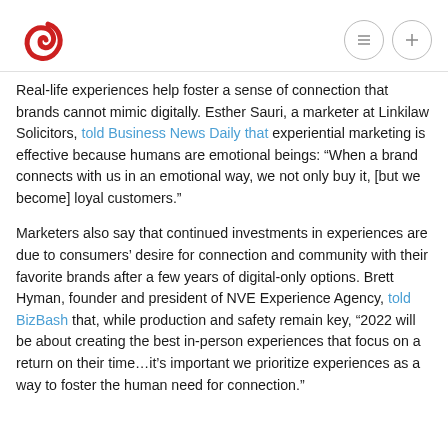Real-life experiences help foster a sense of connection that brands cannot mimic digitally. Esther Sauri, a marketer at Linkilaw Solicitors, told Business News Daily that experiential marketing is effective because humans are emotional beings: “When a brand connects with us in an emotional way, we not only buy it, [but we become] loyal customers.”
Marketers also say that continued investments in experiences are due to consumers’ desire for connection and community with their favorite brands after a few years of digital-only options. Brett Hyman, founder and president of NVE Experience Agency, told BizBash that, while production and safety remain key, “2022 will be about creating the best in-person experiences that focus on a return on their time…it’s important we prioritize experiences as a way to foster the human need for connection.”